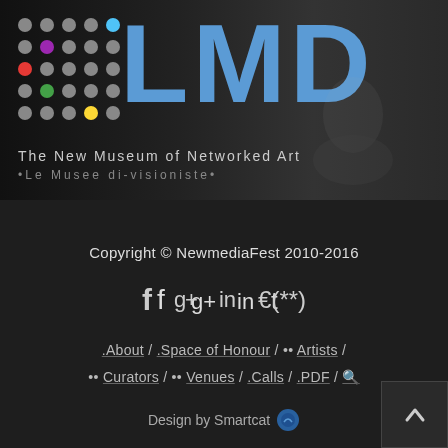[Figure (logo): LMD - The New Museum of Networked Art logo with colorful dot grid and large blue LMD text]
Copyright © NewmediaFest 2010-2016
[Figure (infographic): Social media icons: Facebook, Google+, LinkedIn, Twitter]
.About / .Space of Honour / •• Artists / •• Curators / •• Venues / .Calls / .PDF / 🔍
Design by Smartcat